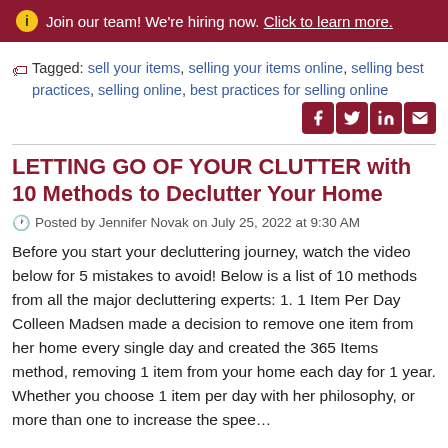ℹ Join our team! We're hiring now. Click to learn more.
Tagged: sell your items, selling your items online, selling best practices, selling online, best practices for selling online
LETTING GO OF YOUR CLUTTER with 10 Methods to Declutter Your Home
Posted by Jennifer Novak on July 25, 2022 at 9:30 AM
Before you start your decluttering journey, watch the video below for 5 mistakes to avoid! Below is a list of 10 methods from all the major decluttering experts: 1. 1 Item Per Day Colleen Madsen made a decision to remove one item from her home every single day and created the 365 Items method, removing 1 item from your home each day for 1 year. Whether you choose 1 item per day with her philosophy, or more than one to increase the spee…